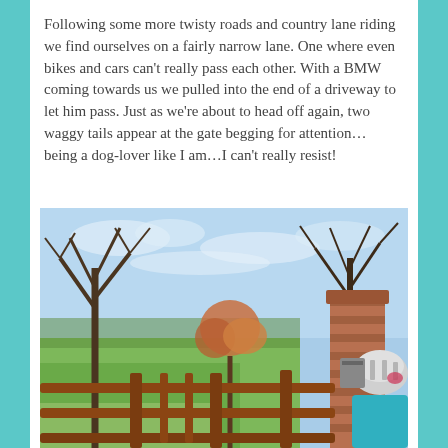Following some more twisty roads and country lane riding we find ourselves on a fairly narrow lane. One where even bikes and cars can't really pass each other. With a BMW coming towards us we pulled into the end of a driveway to let him pass. Just as we're about to head off again, two waggy tails appear at the gate begging for attention… being a dog-lover like I am…I can't really resist!
[Figure (photo): Outdoor countryside scene showing a wooden gate/fence in the foreground with a brick pillar on the right side. A cyclist wearing a helmet is visible on the right. In the background there are bare winter trees, green fields, and a blue sky with light clouds.]